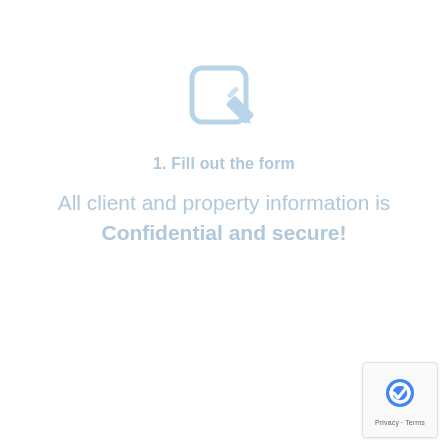[Figure (illustration): Light blue edit/form icon: a rounded square outline with a pencil overlaid at the bottom-right, rendered in a light blue/grey color]
1. Fill out the form
All client and property information is Confidential and secure!
[Figure (logo): Google reCAPTCHA widget showing the reCAPTCHA logo (circular arrows with a checkmark) and 'Privacy - Terms' text below, in a small rounded box at the bottom-right]